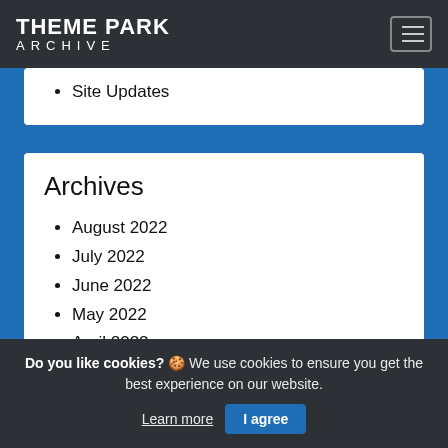THEME PARK ARCHIVE
Site Updates
Archives
August 2022
July 2022
June 2022
May 2022
April 2022
Do you like cookies? 🍪 We use cookies to ensure you get the best experience on our website. Learn more | I agree